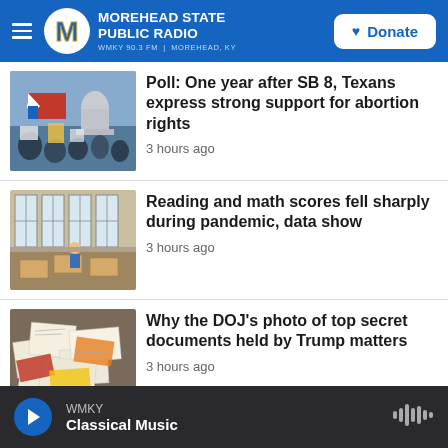Morehead State Public Radio — WMKY 90.3 FM | Morehead, KY
[Figure (photo): People holding protest signs including a Texas flag sign reading 'Don't Mess with Texas' at an outdoor rally near a capitol building]
Poll: One year after SB 8, Texans express strong support for abortion rights
3 hours ago
[Figure (photo): Empty classroom with desks and chairs, windows with blinds in the background]
Reading and math scores fell sharply during pandemic, data show
3 hours ago
[Figure (photo): Scattered classified documents and folders laid out on a surface, including documents with colored cover sheets]
Why the DOJ's photo of top secret documents held by Trump matters
3 hours ago
WMKY — Classical Music